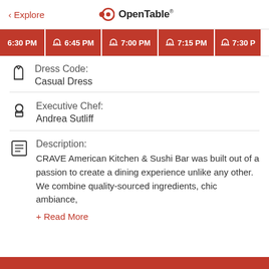< Explore   OpenTable
6:30 PM  6:45 PM  7:00 PM  7:15 PM  7:30 PM
Dress Code:
Casual Dress
Executive Chef:
Andrea Sutliff
Description:
CRAVE American Kitchen & Sushi Bar was built out of a passion to create a dining experience unlike any other. We combine quality-sourced ingredients, chic ambiance,
+ Read More